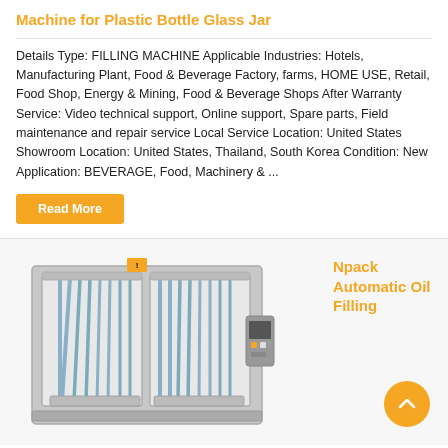Machine for Plastic Bottle Glass Jar
Details Type: FILLING MACHINE Applicable Industries: Hotels, Manufacturing Plant, Food & Beverage Factory, farms, HOME USE, Retail, Food Shop, Energy & Mining, Food & Beverage Shops After Warranty Service: Video technical support, Online support, Spare parts, Field maintenance and repair service Local Service Location: United States Showroom Location: United States, Thailand, South Korea Condition: New Application: BEVERAGE, Food, Machinery & ...
Read More
Npack Automatic Oil Filling
[Figure (photo): Industrial automatic oil filling machine with multiple filling nozzles and tubing, housed in a gray metal frame enclosure with a control panel on the right side.]